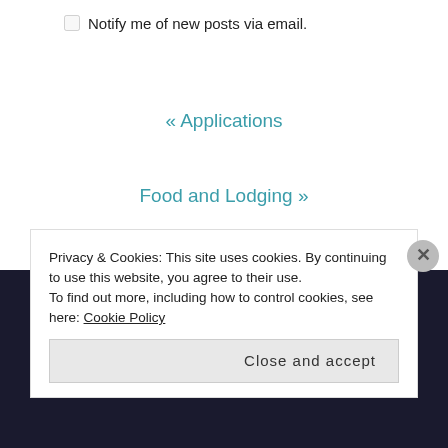Notify me of new posts via email.
« Applications
Food and Lodging »
Privacy & Cookies: This site uses cookies. By continuing to use this website, you agree to their use.
To find out more, including how to control cookies, see here: Cookie Policy
Close and accept